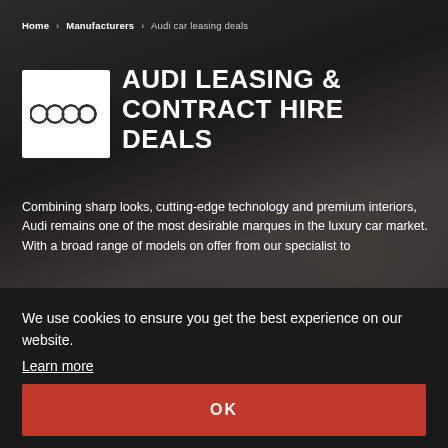Home > Manufacturers > Audi car leasing deals
AUDI LEASING & CONTRACT HIRE DEALS
Combining sharp looks, cutting-edge technology and premium interiors, Audi remains one of the most desirable marques in the luxury car market. With a broad range of models on offer from our specialist to
We use cookies to ensure you get the best experience on our website.
Learn more
OK